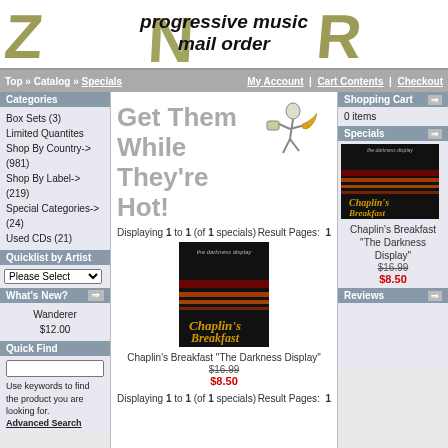[Figure (logo): ZNR progressive music mail order logo with stylized Z, N, R letters in olive/gold color and bold black text 'progressive music mail order']
Top » Catalog » Specials | My Account | Cart Contents | Checkout
Categories
Box Sets (3)
Limited Quantites
Shop By Country-> (981)
Shop By Label-> (219)
Special Categories-> (24)
Used CDs (21)
Quicklist by Artist
Please Select
What's New?
Wanderer $12.00
Quick Find
Use keywords to find the product you are looking for.
Advanced Search
Get Them While They're Hot!
Displaying 1 to 1 (of 1 specials)
Result Pages: 1
[Figure (photo): Album cover for Chaplin's Breakfast 'The Darkness Display' - dark background with red/orange streaks of light and gold text logo]
Chaplin's Breakfast "The Darkness Display"
$16.99 $8.50
Displaying 1 to 1 (of 1 specials)
Result Pages: 1
Shopping Cart
0 items
Specials
[Figure (photo): Small thumbnail of Chaplin's Breakfast 'The Darkness Display' album cover in sidebar]
Chaplin's Breakfast "The Darkness Display" $16.99 $8.50
Reviews